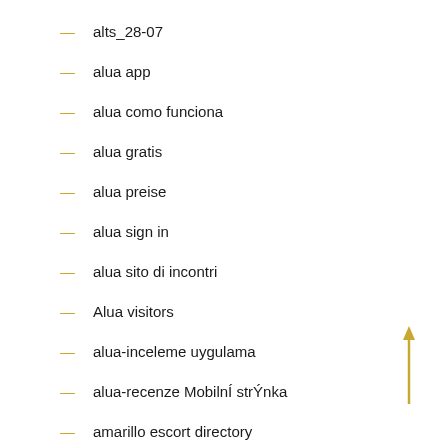alts_28-07
alua app
alua como funciona
alua gratis
alua preise
alua sign in
alua sito di incontri
Alua visitors
alua-inceleme uygulama
alua-recenze MobilnÍ strÝnka
amarillo escort directory
amarillo escort service